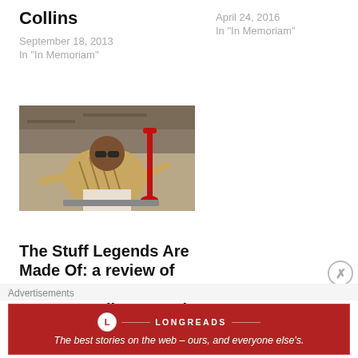Collins
September 18, 2013
In "In Memoriam"
April 24, 2016
In "In Memoriam"
[Figure (photo): Man in a patterned/floral shirt and white pants reclining in a chair holding what appears to be a red trumpet or instrument, wearing sunglasses.]
The Stuff Legends Are Made Of: a review of MILES AHEAD (by guest contributor Craig Carpenter)
Advertisements
The best stories on the web – ours, and everyone else's.